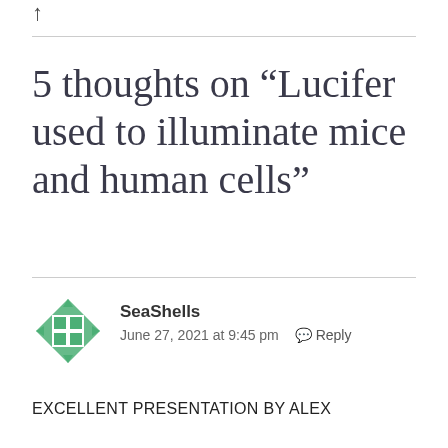↑
5 thoughts on “Lucifer used to illuminate mice and human cells”
SeaShells
June 27, 2021 at 9:45 pm  Reply
EXCELLENT PRESENTATION BY ALEX